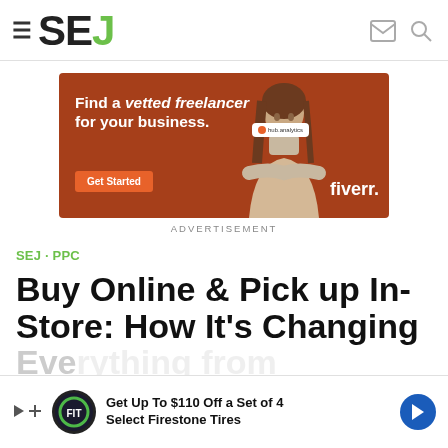SEJ
[Figure (illustration): Fiverr advertisement banner on orange-brown background: 'Find a vetted freelancer for your business.' with Get Started button, woman photo, and Fiverr logo]
ADVERTISEMENT
SEJ · PPC
Buy Online & Pick up In-Store: How It's Changing
[Figure (illustration): Firestone tires bottom advertisement overlay: Get Up To $110 Off a Set of 4 Select Firestone Tires]